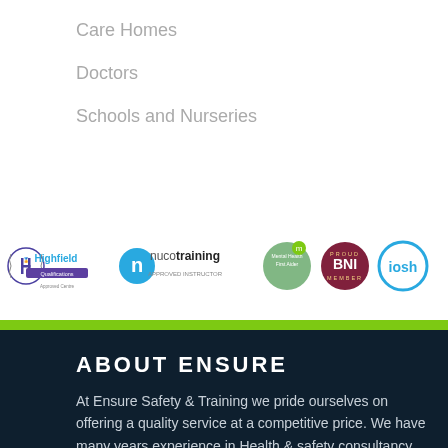Care Homes
Doctors
Schools and Nurseries
[Figure (logo): Row of partner/accreditation logos: Highfield Qualifications Approved Centre, Nuco Training Approved Instructor, Mental Health First Aider, Proud BNI Member, IOSH]
ABOUT ENSURE
At Ensure Safety & Training we pride ourselves on offering a quality service at a competitive price. We have many years experience in Health & safety consultancy and